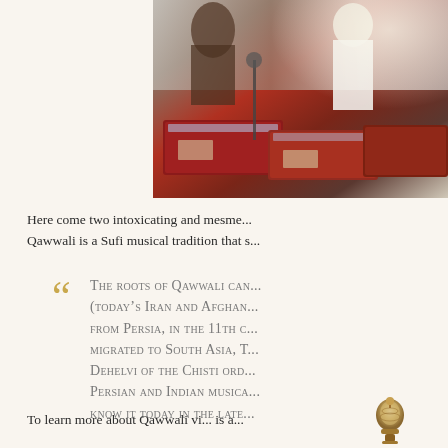[Figure (photo): Musicians performing at an event, with instruments including harmoniums visible in the foreground, people in the background]
Here come two intoxicating and mesme... Qawwali is a Sufi musical tradition that s...
The roots of Qawwali can be traced to (today's Iran and Afghani... from Persia, in the 11th c... migrated to South Asia, T... Dehelvi of the Chisti ord... Persian and Indian musica... know it today in the late...
To learn more about Qawwali vi... is a...